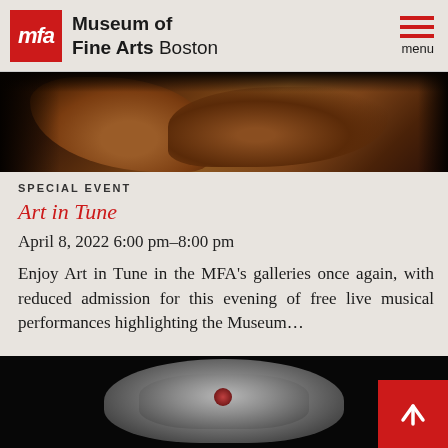Museum of Fine Arts Boston | menu
[Figure (photo): Dark background photo showing a person playing a cello or double bass, partially visible]
SPECIAL EVENT
Art in Tune
April 8, 2022 6:00 pm–8:00 pm
Enjoy Art in Tune in the MFA's galleries once again, with reduced admission for this evening of free live musical performances highlighting the Museum...
[Figure (photo): Dark background photo showing an ornate silver brooch or decorative metal piece with intricate filigree work and gemstone detail]
[Figure (other): Red button with white upward arrow for scrolling back to top]